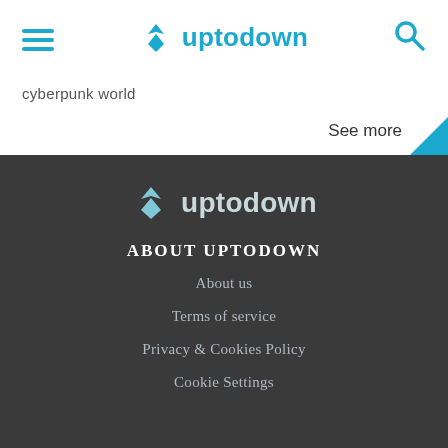uptodown
cyberpunk world
See more
[Figure (logo): Uptodown logo in white on dark background]
ABOUT UPTODOWN
About us
Terms of service
Privacy & Cookies Policy
Cookie Settings